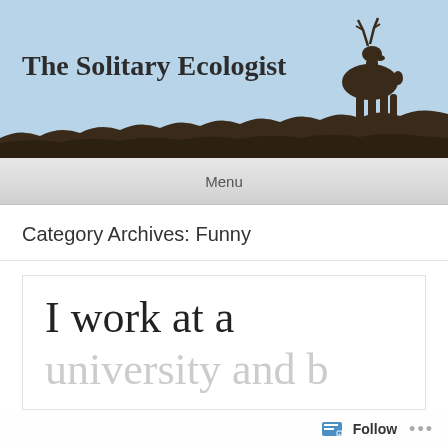[Figure (illustration): Blog header banner with light blue sky background, dark brown silhouette of a deer/antelope standing on a landscape with grass and hills. Title text 'The Solitary Ecologist' in bold dark font overlaid on the left side.]
The Solitary Ecologist
Menu
Category Archives: Funny
I work at a
university and b